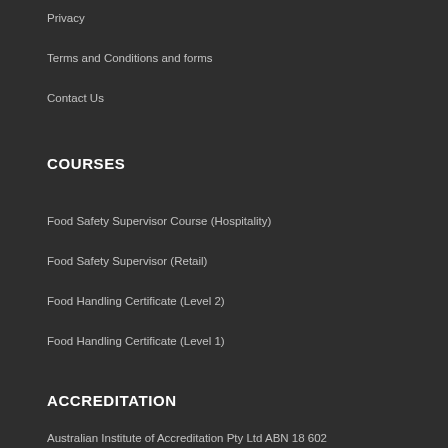Privacy
Terms and Conditions and forms
Contact Us
COURSES
Food Safety Supervisor Course (Hospitality)
Food Safety Supervisor (Retail)
Food Handling Certificate (Level 2)
Food Handling Certificate (Level 1)
ACCREDITATION
Australian Institute of Accreditation Pty Ltd ABN 18 602